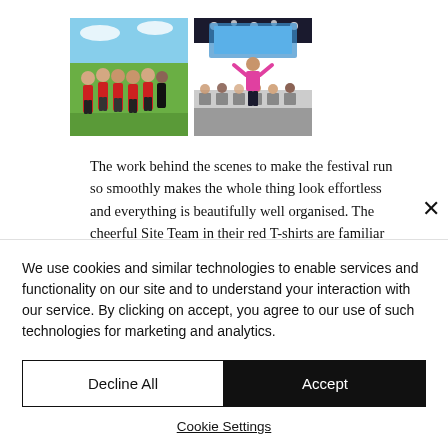[Figure (photo): Two photos side by side: left photo shows a group of young people in red T-shirts standing on grass outdoors; right photo shows a presenter in a pink top with arms raised speaking to a seated audience in a tent with a blue screen display behind.]
The work behind the scenes to make the festival run so smoothly makes the whole thing look effortless and everything is beautifully well organised. The cheerful Site Team in their red T-shirts are familiar
We use cookies and similar technologies to enable services and functionality on our site and to understand your interaction with our service. By clicking on accept, you agree to our use of such technologies for marketing and analytics.
Decline All
Accept
Cookie Settings